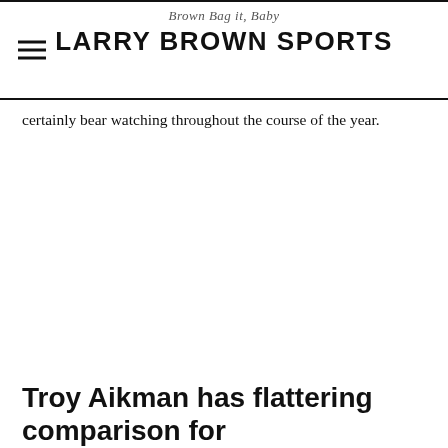Brown Bag it, Baby
LARRY BROWN SPORTS
certainly bear watching throughout the course of the year.
Troy Aikman has flattering comparison for